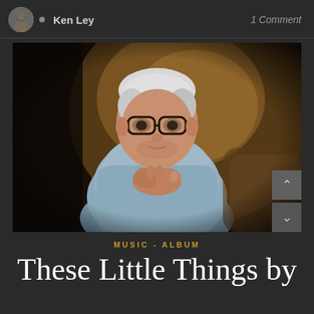Ken Ley · 1 Comment
[Figure (photo): Portrait photograph of an older man with white hair and glasses wearing a light blue button-up shirt, hands clasped together in front of him, posed against a dark warm-toned background]
MUSIC - ALBUM
These Little Things by